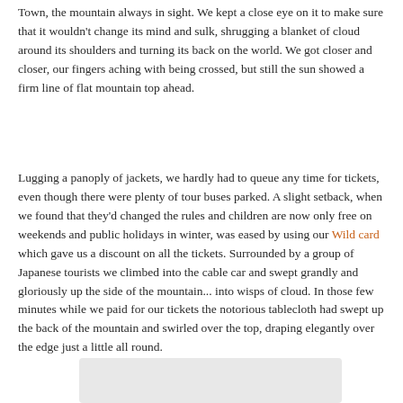Town, the mountain always in sight. We kept a close eye on it to make sure that it wouldn't change its mind and sulk, shrugging a blanket of cloud around its shoulders and turning its back on the world. We got closer and closer, our fingers aching with being crossed, but still the sun showed a firm line of flat mountain top ahead.
Lugging a panoply of jackets, we hardly had to queue any time for tickets, even though there were plenty of tour buses parked. A slight setback, when we found that they'd changed the rules and children are now only free on weekends and public holidays in winter, was eased by using our Wild card which gave us a discount on all the tickets. Surrounded by a group of Japanese tourists we climbed into the cable car and swept grandly and gloriously up the side of the mountain... into wisps of cloud. In those few minutes while we paid for our tickets the notorious tablecloth had swept up the back of the mountain and swirled over the top, draping elegantly over the edge just a little all round.
[Figure (photo): Partial image visible at bottom of page, appears to be a photograph with light/grey tones]